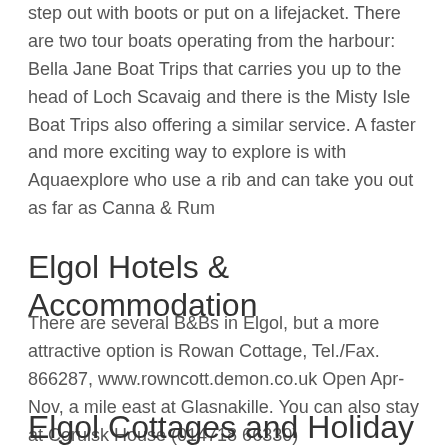step out with boots or put on a lifejacket. There are two tour boats operating from the harbour: Bella Jane Boat Trips that carries you up to the head of Loch Scavaig and there is the Misty Isle Boat Trips also offering a similar service. A faster and more exciting way to explore is with Aquaexplore who use a rib and can take you out as far as Canna & Rum
Elgol Hotels & Accommodation
There are several B&Bs in Elgol, but a more attractive option is Rowan Cottage, Tel./Fax. 866287, www.rowncott.demon.co.uk Open Apr-Nov, a mile east at Glasnakille. You can also stay at Coruisk House (014718 66330)
Elgol Cottages and Holiday